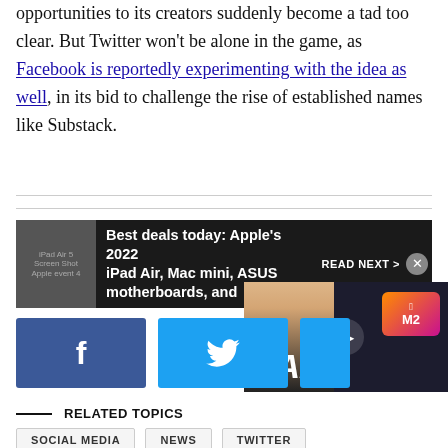opportunities to its creators suddenly become a tad too clear. But Twitter won't be alone in the game, as Facebook is reportedly experimenting with the idea as well, in its bid to challenge the rise of established names like Substack.
[Figure (screenshot): Promotional bar: Best deals today: Apple's 2022 iPad Air, Mac mini, ASUS motherboards, and ... READ NEXT > with a video overlay showing M2 chip, % FASTER?!, person, and DAILY. text]
Social share buttons: Facebook and Twitter
RELATED TOPICS
SOCIAL MEDIA
NEWS
TWITTER